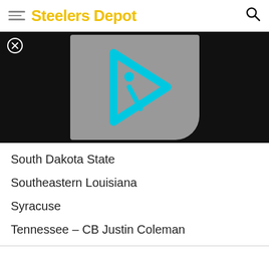Steelers Depot
[Figure (screenshot): Video player thumbnail with grey background and cyan play button icon (stylized 'i' inside a triangle/play shape) on black background, with a close (X) button in upper left]
South Dakota State
Southeastern Louisiana
Syracuse
Tennessee – CB Justin Coleman